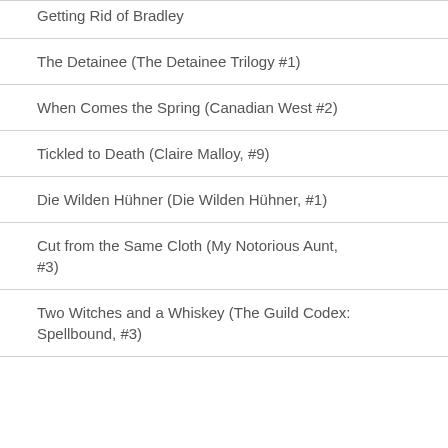Getting Rid of Bradley
The Detainee (The Detainee Trilogy #1)
When Comes the Spring (Canadian West #2)
Tickled to Death (Claire Malloy, #9)
Die Wilden Hühner (Die Wilden Hühner, #1)
Cut from the Same Cloth (My Notorious Aunt, #3)
Two Witches and a Whiskey (The Guild Codex: Spellbound, #3)